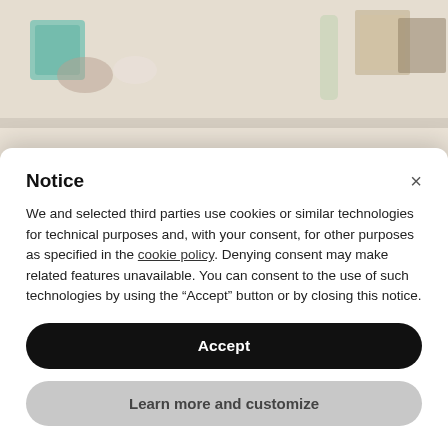[Figure (photo): A white shelving unit displaying white ceramic dishes, plates, cups, a pitcher, and decorative items including framed artwork and a bottle, photographed in soft warm light.]
Notice
We and selected third parties use cookies or similar technologies for technical purposes and, with your consent, for other purposes as specified in the cookie policy. Denying consent may make related features unavailable. You can consent to the use of such technologies by using the “Accept” button or by closing this notice.
Accept
Learn more and customize